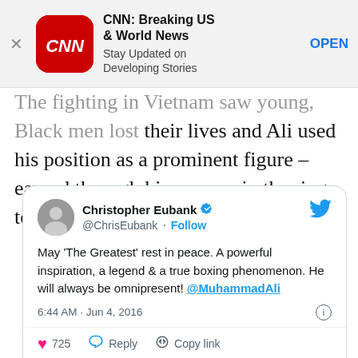[Figure (screenshot): CNN Breaking US & World News app advertisement banner with CNN logo, title, subtitle 'Stay Updated on Developing Stories', and OPEN button]
The fighting in Vietnam saw young, Black men lost their lives and Ali used his position as a prominent figure – earned through his success in the ring – to denounce this.
[Figure (screenshot): Tweet by Christopher Eubank (@ChrisEubank) with verified badge: 'May 'The Greatest' rest in peace. A powerful inspiration, a legend & a true boxing phenomenon. He will always be omnipresent! @MuhammadAli' posted at 6:44 AM · Jun 4, 2016 with 725 likes, Reply, and Copy link actions, and Read 12 replies button]